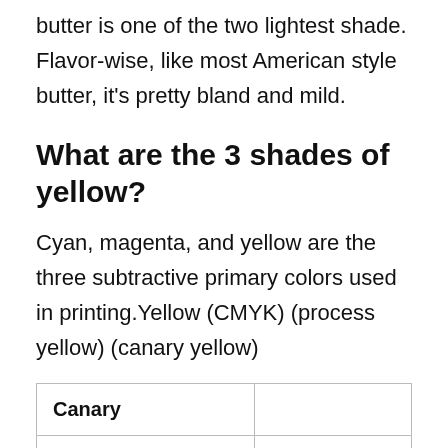As shown in the comparison picture, Challenge butter is one of the two lightest shade. Flavor-wise, like most American style butter, it's pretty bland and mild.
What are the 3 shades of yellow?
Cyan, magenta, and yellow are the three subtractive primary colors used in printing. Yellow (CMYK) (process yellow) (canary yellow)
| Canary |  |
| --- | --- |
| Pale yellow canary |  |
| Color coordinates |  |